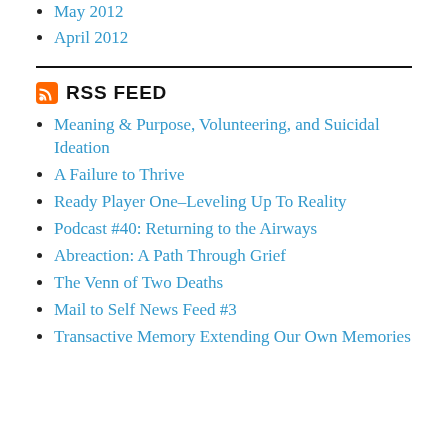May 2012
April 2012
RSS FEED
Meaning & Purpose, Volunteering, and Suicidal Ideation
A Failure to Thrive
Ready Player One–Leveling Up To Reality
Podcast #40: Returning to the Airways
Abreaction: A Path Through Grief
The Venn of Two Deaths
Mail to Self News Feed #3
Transactive Memory Extending Our Own Memories